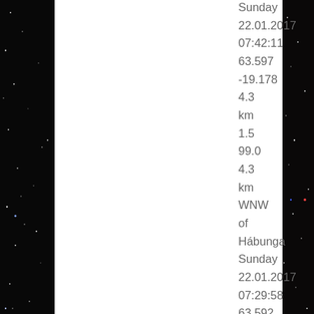[Figure (photo): Dark starfield background image with a white rectangular panel overlaid on the left-center portion. Stars visible on left and right edges.]
Sunday
22.01.2017
07:42:11
63.597
-19.178
4.3
km
1.5
99.0
4.3
km
WNW
of
Hábunga
Sunday
22.01.2017
07:29:58
63.592
-19.181
2.6
km
0.6
99.0